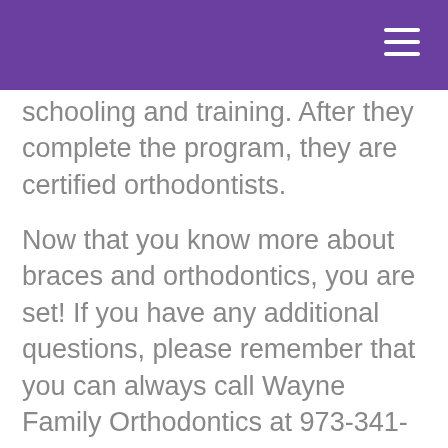schooling and training. After they complete the program, they are certified orthodontists.
Now that you know more about braces and orthodontics, you are set! If you have any additional questions, please remember that you can always call Wayne Family Orthodontics at 973-341-3180 and talk to our team. You can also talk to Dr. Muhammad Abey at any of your appointments. We are happy to help you!